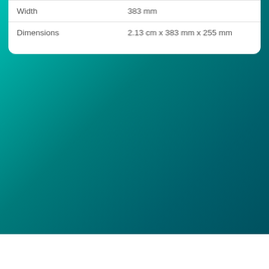| Width | 383 mm |
| Dimensions | 2.13 cm x 383 mm x 255 mm |